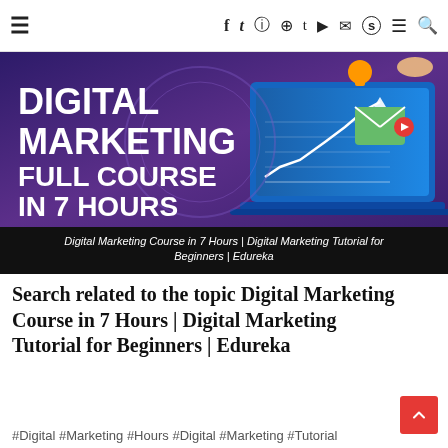≡  f t ℹ p t ▶ ✉ S ≡ 🔍
[Figure (illustration): Banner image for 'Digital Marketing Full Course In 7 Hours' course on a purple/dark background with marketing icons and text. Subtitle: Digital Marketing Course in 7 Hours | Digital Marketing Tutorial for Beginners | Edureka]
Search related to the topic Digital Marketing Course in 7 Hours | Digital Marketing Tutorial for Beginners | Edureka
#Digital #Marketing #Hours #Digital #Marketing #Tutorial